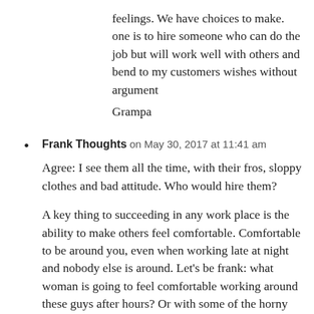feelings. We have choices to make. one is to hire someone who can do the job but will work well with others and bend to my customers wishes without argument
Grampa
Frank Thoughts on May 30, 2017 at 11:41 am

Agree: I see them all the time, with their fros, sloppy clothes and bad attitude. Who would hire them?

A key thing to succeeding in any work place is the ability to make others feel comfortable. Comfortable to be around you, even when working late at night and nobody else is around. Let's be frank: what woman is going to feel comfortable working around these guys after hours? Or with some of the horny Muslims flooding into most Western countries? You really want to be